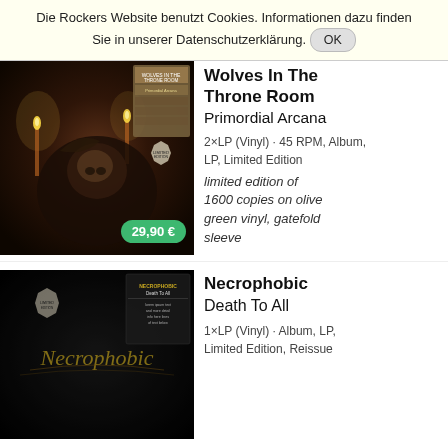Die Rockers Website benutzt Cookies. Informationen dazu finden Sie in unserer Datenschutzerklärung. OK
[Figure (photo): Album cover for Wolves In The Throne Room - Primordial Arcana. Dark artwork showing a skull and candles in a moody, painterly style. Price badge showing 29,90 €.]
Wolves In The Throne Room
Primordial Arcana
2×LP (Vinyl) · 45 RPM, Album, LP, Limited Edition
limited edition of 1600 copies on olive green vinyl, gatefold sleeve
[Figure (photo): Album cover for Necrophobic - Death To All. Dark black metal artwork featuring the band logo in ornate lettering on dark background.]
Necrophobic
Death To All
1×LP (Vinyl) · Album, LP, Limited Edition, Reissue